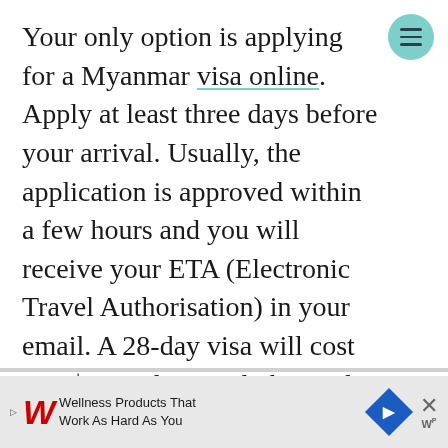Your only option is applying for a Myanmar visa online. Apply at least three days before your arrival. Usually, the application is approved within a few hours and you will receive your ETA (Electronic Travel Authorisation) in your email. A 28-day visa will cost you $50 and can only be paid by credit card.
Order your Visa for Myanmar online
[Figure (screenshot): Advertisement banner: Walgreens wellness products ad with logo, diamond navigation icon, and close button]